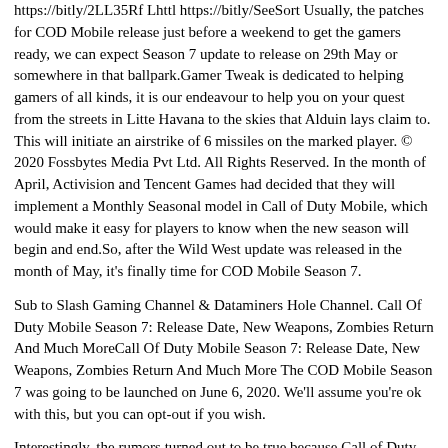https://bitly/2LL35Rf Lhttl https://bitly/SeeSort Usually, the patches for COD Mobile release just before a weekend to get the gamers ready, we can expect Season 7 update to release on 29th May or somewhere in that ballpark.Gamer Tweak is dedicated to helping gamers of all kinds, it is our endeavour to help you on your quest from the streets in Litte Havana to the skies that Alduin lays claim to. This will initiate an airstrike of 6 missiles on the marked player. © 2020 Fossbytes Media Pvt Ltd. All Rights Reserved. In the month of April, Activision and Tencent Games had decided that they will implement a Monthly Seasonal model in Call of Duty Mobile, which would make it easy for players to know when the new season will begin and end.So, after the Wild West update was released in the month of May, it's finally time for COD Mobile Season 7.
Sub to Slash Gaming Channel & Dataminers Hole Channel. Call Of Duty Mobile Season 7: Release Date, New Weapons, Zombies Return And Much MoreCall Of Duty Mobile Season 7: Release Date, New Weapons, Zombies Return And Much More The COD Mobile Season 7 was going to be launched on June 6, 2020. We'll assume you're ok with this, but you can opt-out if you wish.
Interestingly, the rumors turned out to be true because Call of Duty Mobile Season 7 is confirmed to release on June 12. With the new battle pass, players can earn a new character, Soap, from Call of Duty ... But data miners recently spotted a game file for Richtofen